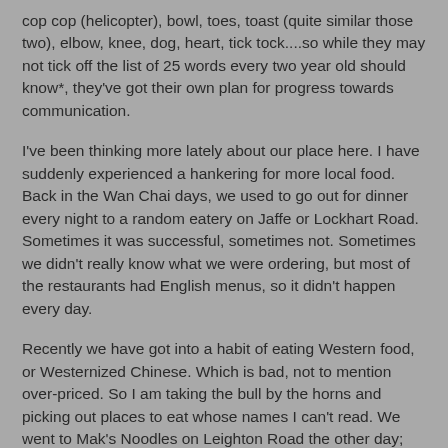cop cop (helicopter), bowl, toes, toast (quite similar those two), elbow, knee, dog, heart, tick tock....so while they may not tick off the list of 25 words every two year old should know*, they've got their own plan for progress towards communication.
I've been thinking more lately about our place here. I have suddenly experienced a hankering for more local food. Back in the Wan Chai days, we used to go out for dinner every night to a random eatery on Jaffe or Lockhart Road. Sometimes it was successful, sometimes not. Sometimes we didn't really know what we were ordering, but most of the restaurants had English menus, so it didn't happen every day.
Recently we have got into a habit of eating Western food, or Westernized Chinese. Which is bad, not to mention over-priced. So I am taking the bull by the horns and picking out places to eat whose names I can't read. We went to Mak's Noodles on Leighton Road the other day; apparently it's in the HK & Macau Michelin guide, but I don't know why. Seemed pretty mediocre to me. But it did remind me of how